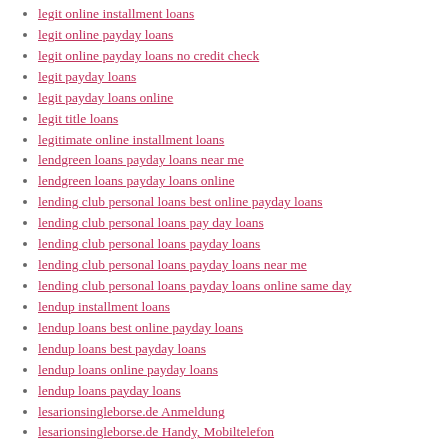legit online installment loans
legit online payday loans
legit online payday loans no credit check
legit payday loans
legit payday loans online
legit title loans
legitimate online installment loans
lendgreen loans payday loans near me
lendgreen loans payday loans online
lending club personal loans best online payday loans
lending club personal loans pay day loans
lending club personal loans payday loans
lending club personal loans payday loans near me
lending club personal loans payday loans online same day
lendup installment loans
lendup loans best online payday loans
lendup loans best payday loans
lendup loans online payday loans
lendup loans payday loans
lesarionsingleborse.de Anmeldung
lesarionsingleborse.de Handy, Mobiltelefon
lesarionsingleborse.de Mobile Seite
Lesbian Dating app
Lesbian Dating dating
Lesbian Dating service